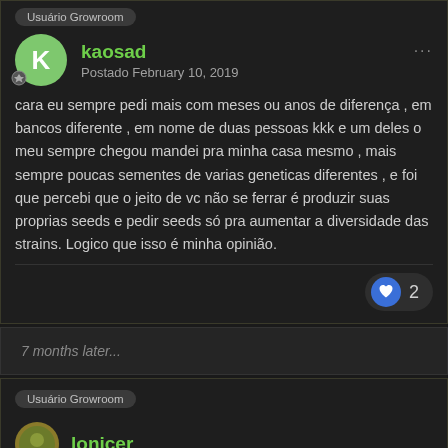Usuário Growroom
kaosad
Postado February 10, 2019
cara eu sempre pedi mais com meses ou anos de diferença , em bancos diferente , em nome de duas pessoas kkk e um deles o meu sempre chegou mandei pra minha casa mesmo , mais sempre poucas sementes de varias geneticas diferentes , e foi que percebi que o jeito de vc não se ferrar é produzir suas proprias seeds e pedir seeds só pra aumentar a diversidade das strains. Logico que isso é minha opinião.
2
7 months later...
Usuário Growroom
lonicer